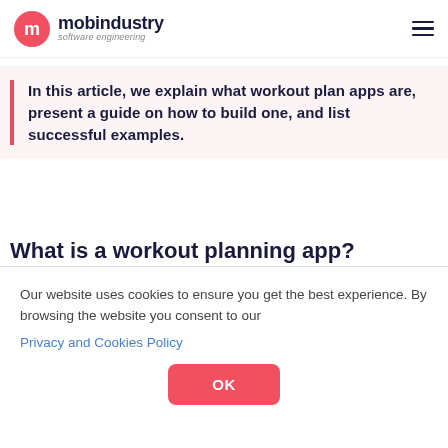mobindustry software engineering
In this article, we explain what workout plan apps are, present a guide on how to build one, and list successful examples.
What is a workout planning app?
Our website uses cookies to ensure you get the best experience. By browsing the website you consent to our Privacy and Cookies Policy
OK